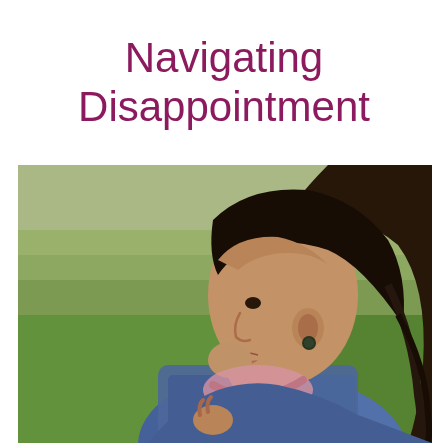Navigating Disappointment
[Figure (photo): A young girl with long dark hair, viewed from the side/profile, smiling slightly. She is wearing a denim jacket and has small earrings. The background shows a green grassy field or meadow, slightly blurred. She appears to be outdoors on an overcast day.]